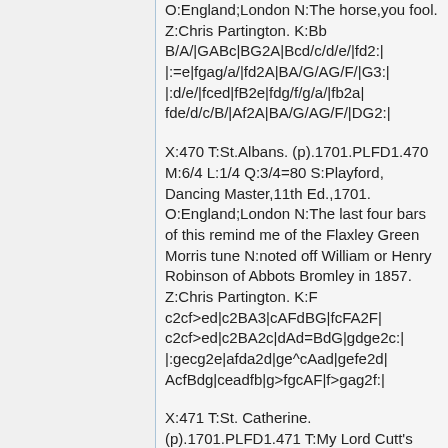O:England;London N:The horse,you fool. Z:Chris Partington. K:Bb B/A/|GABc|BG2A|Bcd/c/d/e/|fd2:| |:=e|fgag/a/|fd2A|BA/G/AG/F/|G3:| |:d/e/|fced|fB2e|fdg/f/g/a/|fb2a| fde/d/c/B/|Af2A|BA/G/AG/F/|DG2:|
X:470 T:St.Albans. (p).1701.PLFD1.470 M:6/4 L:1/4 Q:3/4=80 S:Playford, Dancing Master,11th Ed.,1701. O:England;London N:The last four bars of this remind me of the Flaxley Green Morris tune N:noted off William or Henry Robinson of Abbots Bromley in 1857. Z:Chris Partington. K:F c2cf>ed|c2BA3|cAFdBG|fcFA2F| c2cf>ed|c2BA2c|dAd=BdG|gdge2c:| |:gecg2e|afda2d|ge^cAad|gefe2d| AcfBdg|ceadfb|g>fgcAF|f>gag2f:|
X:471 T:St. Catherine. (p).1701.PLFD1.471 T:My Lord Cutt's